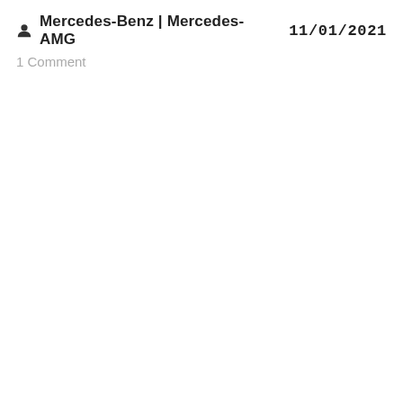Mercedes-Benz | Mercedes-AMG   11/01/2021
1 Comment